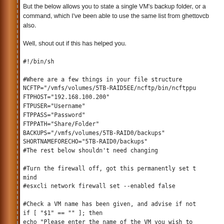But the below allows you to state a single VM's backup folder, or a command, which I've been able to use the same list from ghettovcb also.
Well, shout out if this has helped you.
#!/bin/sh

#Where are a few things in your file structure
NCFTP="/vmfs/volumes/5TB-RAID5EE/ncftp/bin/ncftppu
FTPHOST="192.168.100.200"
FTPUSER="Username"
FTPPASS="Password"
FTPPATH="Share/Folder"
BACKUPS="/vmfs/volumes/5TB-RAID0/backups"
SHORTNAMEFORECHO="5TB-RAID0/backups"
#The rest below shouldn't need changing

#Turn the firewall off, got this permanently set t mind
#esxcli network firewall set --enabled false

#Check a VM name has been given, and advise if not
if [ "$1" == "" ]; then
echo "Please enter the name of the VM you wish to